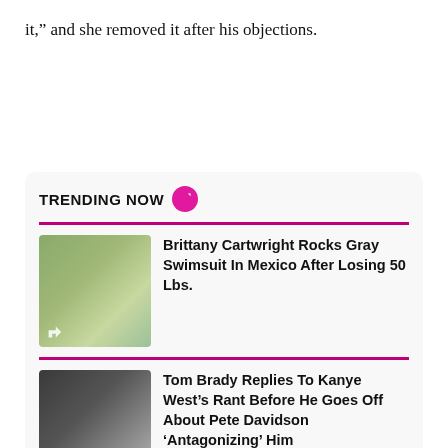it,” and she removed it after his objections.
TRENDING NOW
Brittany Cartwright Rocks Gray Swimsuit In Mexico After Losing 50 Lbs.
Tom Brady Replies To Kanye West’s Rant Before He Goes Off About Pete Davidson ‘Antagonizing’ Him